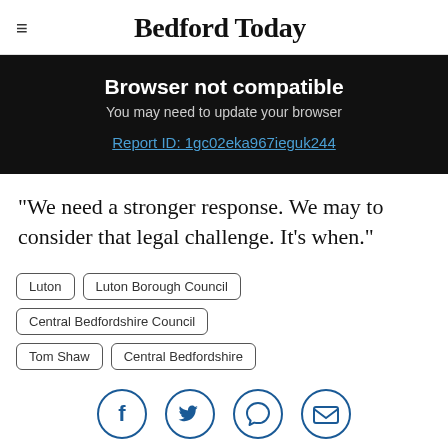Bedford Today
Browser not compatible
You may need to update your browser
Report ID: 1gc02eka967ieguk244
"We need a stronger response. We may to consider that legal challenge. It's when."
Luton
Luton Borough Council
Central Bedfordshire Council
Tom Shaw
Central Bedfordshire
[Figure (other): Social sharing icons: Facebook, Twitter, WhatsApp, Email]